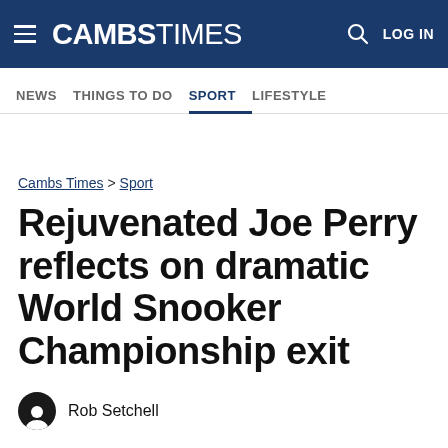CAMBS TIMES — LOG IN
NEWS  THINGS TO DO  SPORT  LIFESTYLE
Cambs Times > Sport
Rejuvenated Joe Perry reflects on dramatic World Snooker Championship exit
Rob Setchell